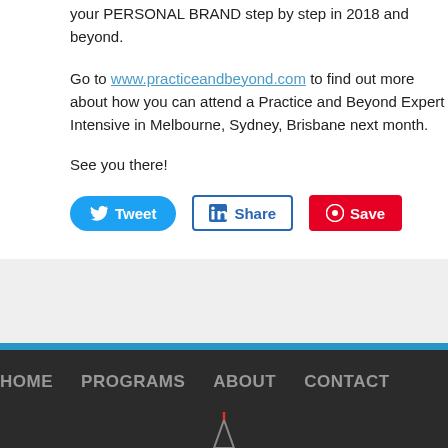your PERSONAL BRAND step by step in 2018 and beyond.
Go to www.practiceandbeyond.com to find out more about how you can attend a Practice and Beyond Expert Intensive in Melbourne, Sydney, Brisbane next month.
See you there!
[Figure (other): Social share buttons: Tweet (Twitter, blue), Share (LinkedIn, blue border), Save (Pinterest, red)]
HOME  PROGRAMS  ABOUT  CONTACT